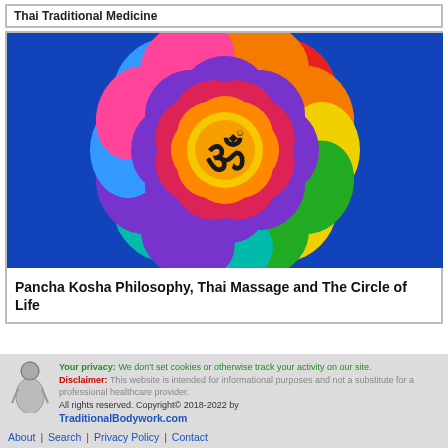Thai Traditional Medicine
[Figure (illustration): Colorful mandala with Om symbol in center, rainbow petal layers radiating outward on blue background]
Pancha Kosha Philosophy, Thai Massage and The Circle of Life
Your privacy: We don't set cookies or otherwise track your activity on our site. Disclaimer: This website is intended for informational purposes and not a substitute for a professional healthcare provider. All rights reserved. Copyright© 2018-2022 by TraditionalBodywork.com
About | Search | Privacy Policy | Contact